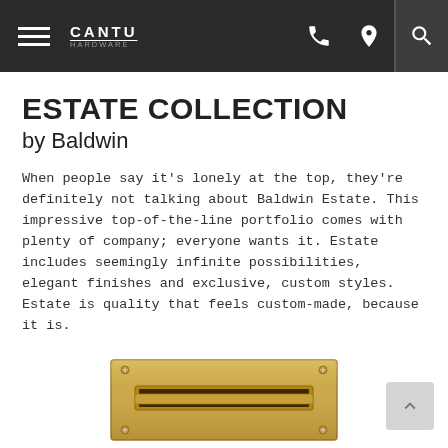CANTU
ESTATE COLLECTION
by Baldwin
When people say it's lonely at the top, they're definitely not talking about Baldwin Estate. This impressive top-of-the-line portfolio comes with plenty of company; everyone wants it. Estate includes seemingly infinite possibilities, elegant finishes and exclusive, custom styles. Estate is quality that feels custom-made, because it is.
View All
[Figure (photo): A gold/brass mail slot plate with a horizontal mail insert slot, photographed against white background]